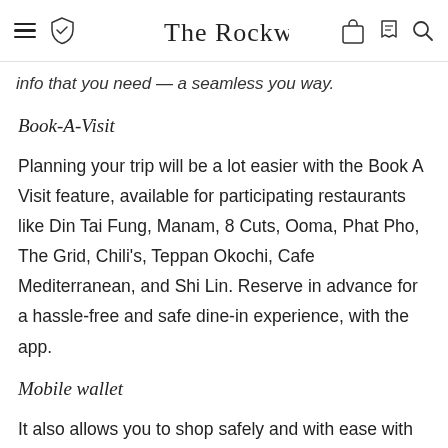The Rockwallet [navigation header with hamburger menu, shield icon, logo, bag icon, hand icon, search icon]
info that you need — a seamless you way.
Book-A-Visit
Planning your trip will be a lot easier with the Book A Visit feature, available for participating restaurants like Din Tai Fung, Manam, 8 Cuts, Ooma, Phat Pho, The Grid, Chili's, Teppan Okochi, Cafe Mediterranean, and Shi Lin. Reserve in advance for a hassle-free and safe dine-in experience, with the app.
Mobile wallet
It also allows you to shop safely and with ease with